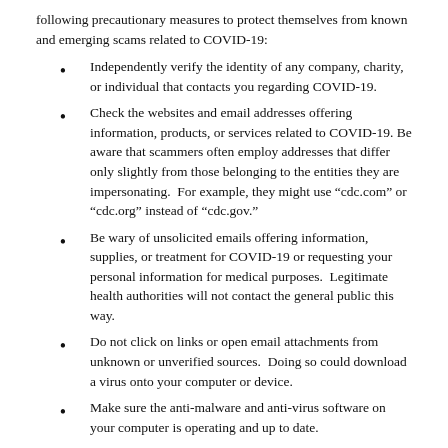following precautionary measures to protect themselves from known and emerging scams related to COVID-19:
Independently verify the identity of any company, charity, or individual that contacts you regarding COVID-19.
Check the websites and email addresses offering information, products, or services related to COVID-19. Be aware that scammers often employ addresses that differ only slightly from those belonging to the entities they are impersonating. For example, they might use “cdc.com” or “cdc.org” instead of “cdc.gov.”
Be wary of unsolicited emails offering information, supplies, or treatment for COVID-19 or requesting your personal information for medical purposes. Legitimate health authorities will not contact the general public this way.
Do not click on links or open email attachments from unknown or unverified sources. Doing so could download a virus onto your computer or device.
Make sure the anti-malware and anti-virus software on your computer is operating and up to date.